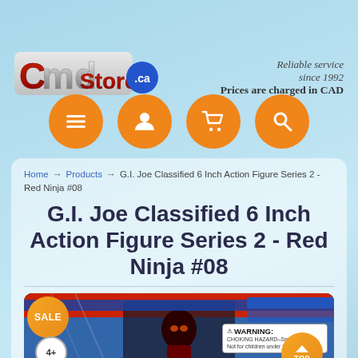[Figure (logo): CmdStore.ca logo in stylized text with red and silver lettering and blue .ca badge]
Reliable service since 1992
Prices are charged in CAD
[Figure (infographic): Four orange circular navigation buttons: menu (hamburger), user profile, shopping cart, search magnifier]
Home → Products → G.I. Joe Classified 6 Inch Action Figure Series 2 - Red Ninja #08
G.I. Joe Classified 6 Inch Action Figure Series 2 - Red Ninja #08
[Figure (photo): Product photo of G.I. Joe Classified Red Ninja #08 action figure in package, with SALE badge, age 4+ badge, WARNING choking hazard label, and a TOP scroll button]